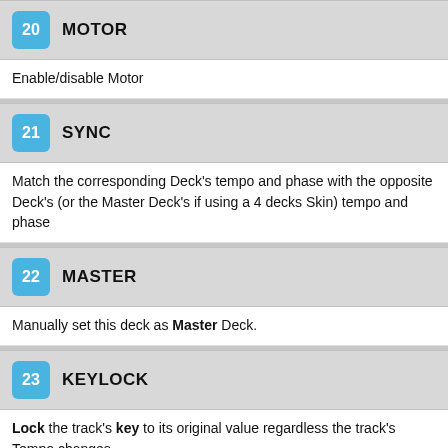20 MOTOR
Enable/disable Motor
21 SYNC
Match the corresponding Deck's tempo and phase with the opposite Deck's (or the Master Deck's if using a 4 decks Skin) tempo and phase
22 MASTER
Manually set this deck as Master Deck.
23 KEYLOCK
Lock the track's key to its original value regardless the track's Tempo changes.
Smoothly reset Track's tempo to its original value